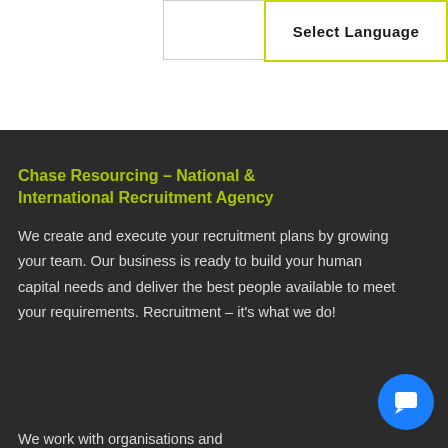Select Language
Chase Resourcing – National & International Recruitment Agency
We create and execute your recruitment plans by growing your team. Our business is ready to build your human capital needs and deliver the best people available to meet your requirements. Recruitment – it's what we do!
We work with organisations and